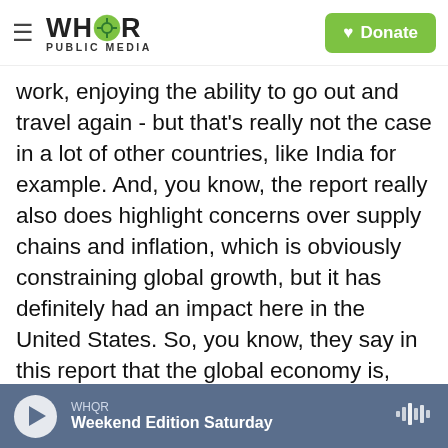WHQR PUBLIC MEDIA | Donate
work, enjoying the ability to go out and travel again - but that's really not the case in a lot of other countries, like India for example. And, you know, the report really also does highlight concerns over supply chains and inflation, which is obviously constraining global growth, but it has definitely had an impact here in the United States. So, you know, they say in this report that the global economy is, however, projected to grow 5.9% in 2021. So the global growth will continue. However, that is a downward revision. So we are seeing this economic recovery, this global growth, slowing over time.
WHQR | Weekend Edition Saturday